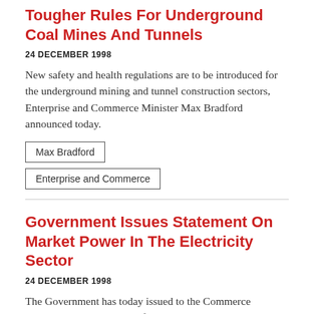Tougher Rules For Underground Coal Mines And Tunnels
24 DECEMBER 1998
New safety and health regulations are to be introduced for the underground mining and tunnel construction sectors, Enterprise and Commerce Minister Max Bradford announced today.
Max Bradford
Enterprise and Commerce
Government Issues Statement On Market Power In The Electricity Sector
24 DECEMBER 1998
The Government has today issued to the Commerce Commission a Statement of Economic Policy on market power in the electricity sector, the Minister for Enterprise and